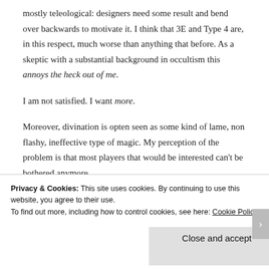mostly teleological: designers need some result and bend over backwards to motivate it. I think that 3E and Type 4 are, in this respect, much worse than anything that before. As a skeptic with a substantial background in occultism this annoys the heck out of me.
I am not satisfied. I want more.
Moreover, divination is opten seen as some kind of lame, non flashy, ineffective type of magic. My perception of the problem is that most players that would be interested can't be bothered anymore.
Privacy & Cookies: This site uses cookies. By continuing to use this website, you agree to their use. To find out more, including how to control cookies, see here: Cookie Policy
Close and accept